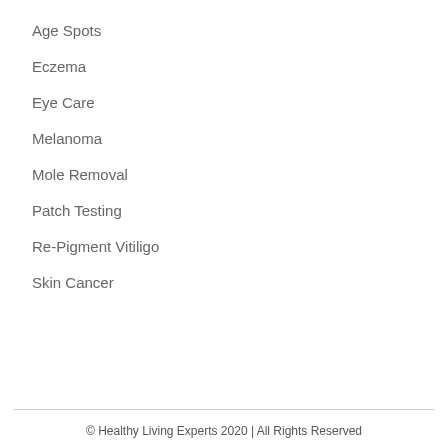Age Spots
Eczema
Eye Care
Melanoma
Mole Removal
Patch Testing
Re-Pigment Vitiligo
Skin Cancer
© Healthy Living Experts 2020 | All Rights Reserved